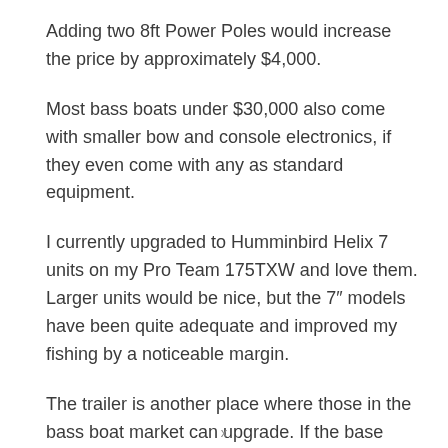Adding two 8ft Power Poles would increase the price by approximately $4,000.
Most bass boats under $30,000 also come with smaller bow and console electronics, if they even come with any as standard equipment.
I currently upgraded to Humminbird Helix 7 units on my Pro Team 175TXW and love them. Larger units would be nice, but the 7″ models have been quite adequate and improved my fishing by a noticeable margin.
The trailer is another place where those in the bass boat market can upgrade. If the base weight of the hull is
x